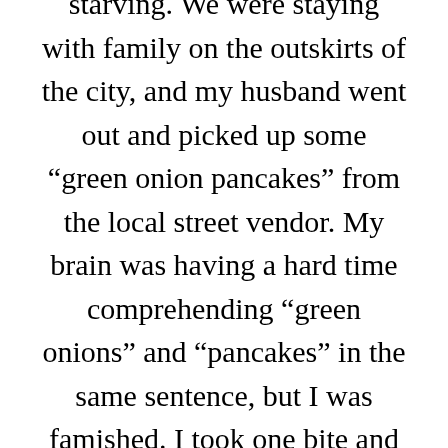starving. We were staying with family on the outskirts of the city, and my husband went out and picked up some “green onion pancakes” from the local street vendor. My brain was having a hard time comprehending “green onions” and “pancakes” in the same sentence, but I was famished. I took one bite and